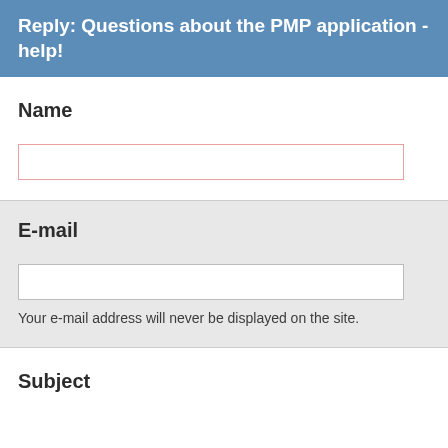Reply: Questions about the PMP application - help!
Name
E-mail
Your e-mail address will never be displayed on the site.
Subject